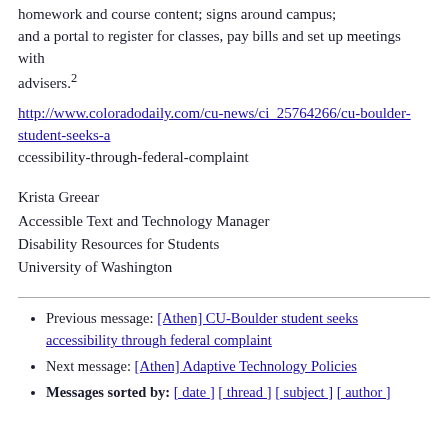for homework and course content; signs around campus; and a portal to register for classes, pay bills and set up meetings with advisers.²
http://www.coloradodaily.com/cu-news/ci_25764266/cu-boulder-student-seeks-a ccessibility-through-federal-complaint
Krista Greear
Accessible Text and Technology Manager
Disability Resources for Students
University of Washington
Previous message: [Athen] CU-Boulder student seeks accessibility through federal complaint
Next message: [Athen] Adaptive Technology Policies
Messages sorted by: [ date ] [ thread ] [ subject ] [ author ]